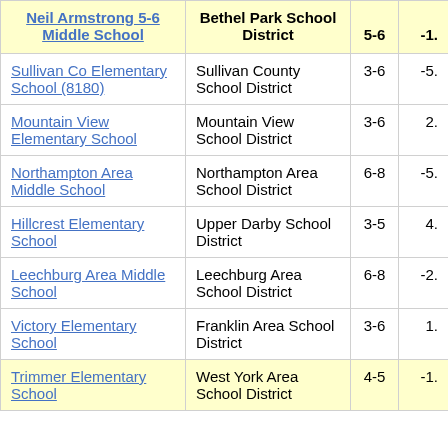| Neil Armstrong 5-6 Middle School | Bethel Park School District | 5-6 | -1. |
| --- | --- | --- | --- |
| Sullivan Co Elementary School (8180) | Sullivan County School District | 3-6 | -5. |
| Mountain View Elementary School | Mountain View School District | 3-6 | 2. |
| Northampton Area Middle School | Northampton Area School District | 6-8 | -5. |
| Hillcrest Elementary School | Upper Darby School District | 3-5 | 4. |
| Leechburg Area Middle School | Leechburg Area School District | 6-8 | -2. |
| Victory Elementary School | Franklin Area School District | 3-6 | 1. |
| Trimmer Elementary School | West York Area School District | 4-5 | -1. |